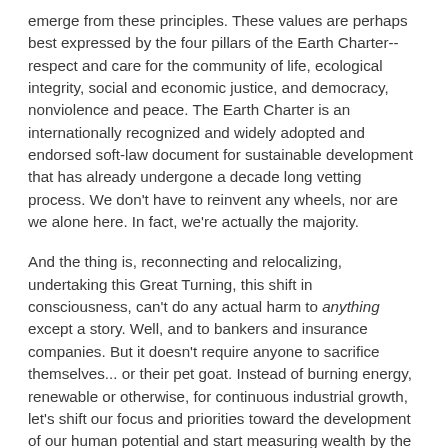emerge from these principles. These values are perhaps best expressed by the four pillars of the Earth Charter-- respect and care for the community of life, ecological integrity, social and economic justice, and democracy, nonviolence and peace. The Earth Charter is an internationally recognized and widely adopted and endorsed soft-law document for sustainable development that has already undergone a decade long vetting process. We don't have to reinvent any wheels, nor are we alone here. In fact, we're actually the majority.
And the thing is, reconnecting and relocalizing, undertaking this Great Turning, this shift in consciousness, can't do any actual harm to anything except a story. Well, and to bankers and insurance companies. But it doesn't require anyone to sacrifice themselves... or their pet goat. Instead of burning energy, renewable or otherwise, for continuous industrial growth, let's shift our focus and priorities toward the development of our human potential and start measuring wealth by the quality and quantity of the mutually supportive relationships one can develop and maintain. Let's fully engage in the entire transition process. Let's rebuild